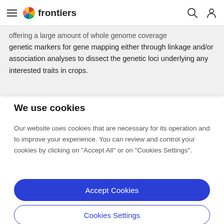frontiers
offering a large amount of whole genome coverage genetic markers for gene mapping either through linkage and/or association analyses to dissect the genetic loci underlying any interested traits in crops.
We use cookies
Our website uses cookies that are necessary for its operation and to improve your experience. You can review and control your cookies by clicking on "Accept All" or on "Cookies Settings".
Accept Cookies
Cookies Settings